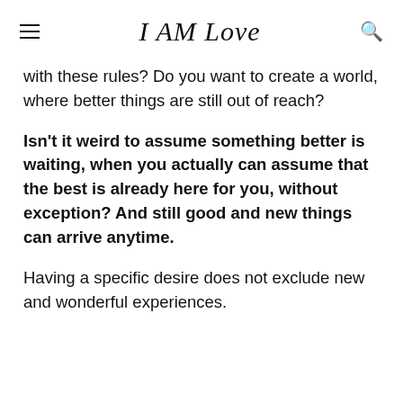I AM Love
with these rules? Do you want to create a world, where better things are still out of reach?
Isn't it weird to assume something better is waiting, when you actually can assume that the best is already here for you, without exception? And still good and new things can arrive anytime.
Having a specific desire does not exclude new and wonderful experiences.